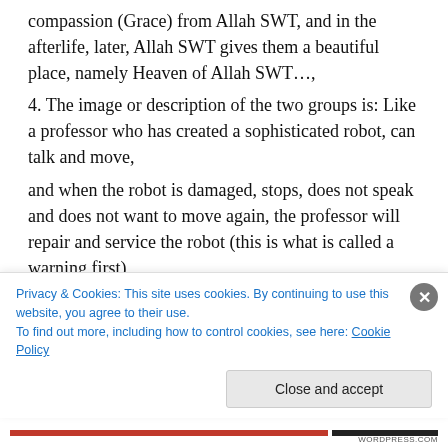compassion (Grace) from Allah SWT, and in the afterlife, later, Allah SWT gives them a beautiful place, namely Heaven of Allah SWT…,
4. The image or description of the two groups is: Like a professor who has created a sophisticated robot, can talk and move,
and when the robot is damaged, stops, does not speak and does not want to move again, the professor will repair and service the robot (this is what is called a warning first),
and if after being serviced (repaired) it is still damaged, can not speak, can not move, can not obey to professor,
Privacy & Cookies: This site uses cookies. By continuing to use this website, you agree to their use.
To find out more, including how to control cookies, see here: Cookie Policy
Close and accept